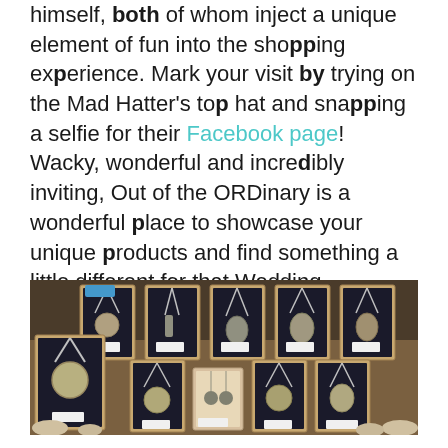himself, both of whom inject a unique element of fun into the shopping experience. Mark your visit by trying on the Mad Hatter's top hat and snapping a selfie for their Facebook page! Wacky, wonderful and incredibly inviting, Out of the ORDinary is a wonderful place to showcase your unique products and find something a little different for that Wedding, Birthday, Christening or Christmas gift.
[Figure (photo): A display of framed jewelry (necklaces with pendants) arranged on dark velvet backing inside wooden frames, set on a wooden surface, photographed in a market or craft fair style setting.]